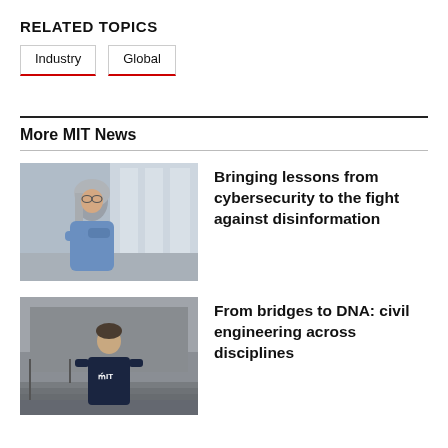RELATED TOPICS
Industry
Global
More MIT News
[Figure (photo): Person with long gray hair and glasses wearing a blue shirt, arms crossed, standing in a hallway with glass windows]
Bringing lessons from cybersecurity to the fight against disinformation
[Figure (photo): Young man in a navy MIT t-shirt standing outside on steps in front of a building]
From bridges to DNA: civil engineering across disciplines